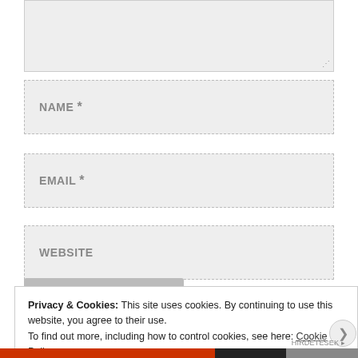[Figure (screenshot): Partial textarea form field at top, shown cut off, with resize handle at bottom right]
NAME *
EMAIL *
WEBSITE
Privacy & Cookies: This site uses cookies. By continuing to use this website, you agree to their use.
To find out more, including how to control cookies, see here: Cookie Policy
Close and accept